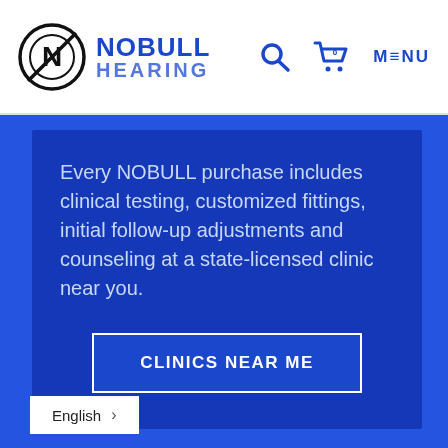[Figure (logo): NOBULL HEARING logo with circular N icon in black/white and blue brand name text]
Every NOBULL purchase includes clinical testing, customized fittings, initial follow-up adjustments and counseling at a state-licensed clinic near you.
CLINICS NEAR ME
English >